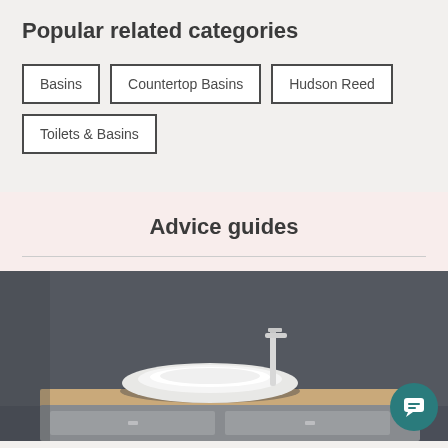Popular related categories
Basins
Countertop Basins
Hudson Reed
Toilets & Basins
Advice guides
[Figure (photo): A white round countertop basin with a chrome tall basin tap, sitting on a wooden vanity unit with grey drawers, against a dark grey wall background.]